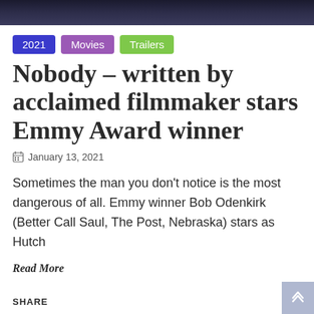[Figure (photo): Dark background image at top of page, partially visible, showing a dark scene]
2021
Movies
Trailers
Nobody – written by acclaimed filmmaker stars Emmy Award winner
January 13, 2021
Sometimes the man you don't notice is the most dangerous of all. Emmy winner Bob Odenkirk (Better Call Saul, The Post, Nebraska) stars as Hutch
Read More
SHARE